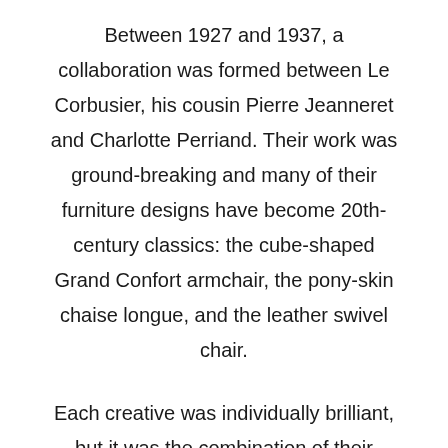Between 1927 and 1937, a collaboration was formed between Le Corbusier, his cousin Pierre Jeanneret and Charlotte Perriand. Their work was ground-breaking and many of their furniture designs have become 20th-century classics: the cube-shaped Grand Confort armchair, the pony-skin chaise longue, and the leather swivel chair.
Each creative was individually brilliant, but it was the combination of their brilliance which cemented their historical significance.